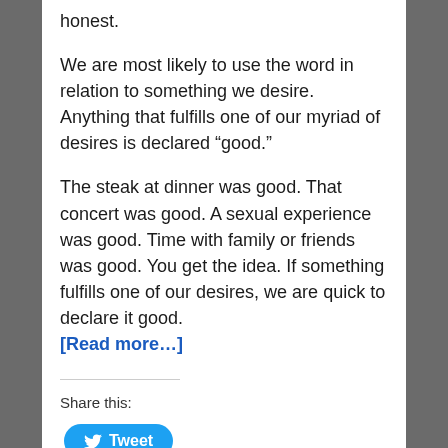honest.
We are most likely to use the word in relation to something we desire. Anything that fulfills one of our myriad of desires is declared “good.”
The steak at dinner was good. That concert was good. A sexual experience was good. Time with family or friends was good. You get the idea. If something fulfills one of our desires, we are quick to declare it good. [Read more…]
Share this:
[Figure (other): Tweet button with Twitter bird icon]